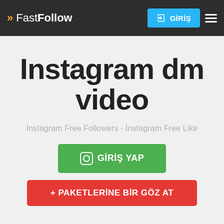FastFollow | GİRİŞ
Instagram dm video
İnstagram Free Followers - İnstagram Free Like
GİRİŞ YAP
+ PAKETLERİNE BİR GÖZ AT